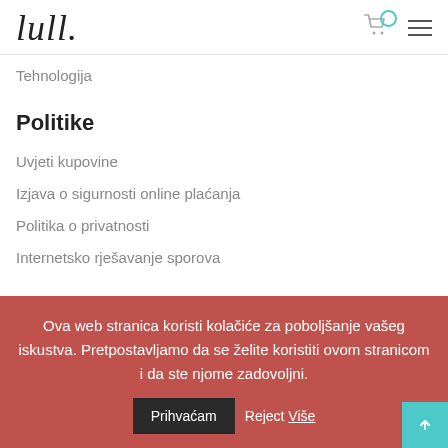[Figure (logo): Lull brand logo in cursive handwritten style with a period at the end]
Tehnologija
Politike
Uvjeti kupovine
Izjava o sigurnosti online plaćanja
Politika o privatnosti
Internetsko rješavanje sporova
Ova web stranica koristi kolačiće za poboljšanje vašeg iskustva. Pretpostavljamo da se želite koristiti ovom stranicom i da ste njome zadovoljni. Reject Više